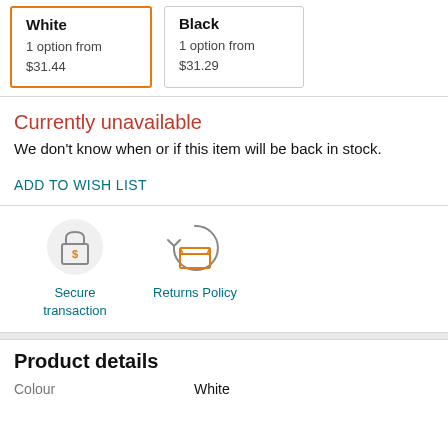White
1 option from
$31.44
Black
1 option from
$31.29
Currently unavailable
We don't know when or if this item will be back in stock.
ADD TO WISH LIST
[Figure (infographic): Secure transaction icon: padlock with dollar sign]
[Figure (infographic): Returns Policy icon: box with circular arrow]
Product details
| Colour | White |